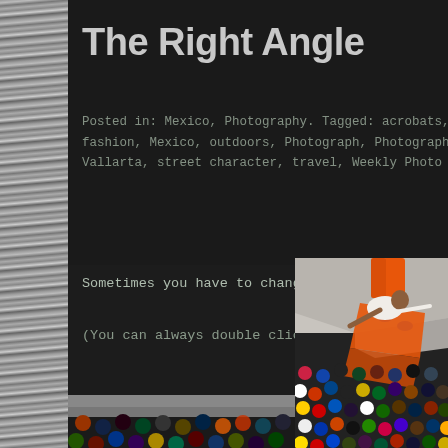The Right Angle
Posted in: Mexico, Photography. Tagged: acrobats, Arts, Da fashion, Mexico, outdoors, Photograph, Photography, postad Vallarta, street character, travel, Weekly Photo Challenge
Sometimes you have to change your point of view to
(You can always double click an image to enlarge)
[Figure (photo): An acrobat in orange costume performing a jump/aerial move above a crowd of spectators seated on steps. The performer is captured from above at an unusual angle. Photo taken in Mexico, likely Puerto Vallarta.]